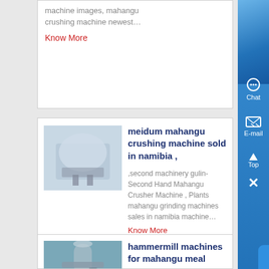machine images, mahangu crushing machine newest…
Know More
[Figure (photo): Mahangu crushing machine wrapped in white covering]
meidum mahangu crushing machine sold in namibia ,
,second machinery gulin-Second Hand Mahangu Crusher Machine , Plants mahangu grinding machines sales in namibia machine…
Know More
[Figure (photo): Industrial hammermill machine for mahangu meal processing]
hammermill machines for mahangu meal
Second Hand Mahangu…